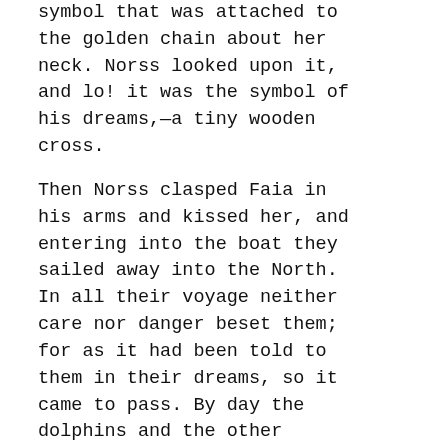symbol that was attached to the golden chain about her neck. Norss looked upon it, and lo! it was the symbol of his dreams,—a tiny wooden cross.
Then Norss clasped Faia in his arms and kissed her, and entering into the boat they sailed away into the North. In all their voyage neither care nor danger beset them; for as it had been told to them in their dreams, so it came to pass. By day the dolphins and the other creatures of the sea gambolled about them; by night the winds and the waves sang them to sleep; and,